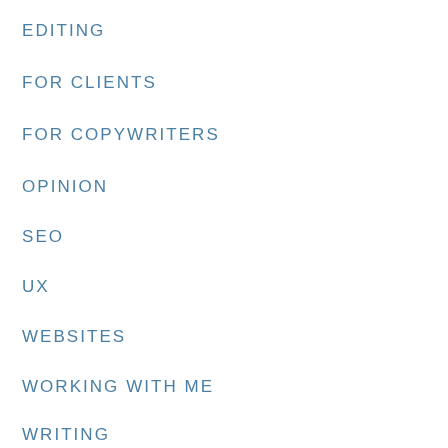EDITING
FOR CLIENTS
FOR COPYWRITERS
OPINION
SEO
UX
WEBSITES
WORKING WITH ME
WRITING